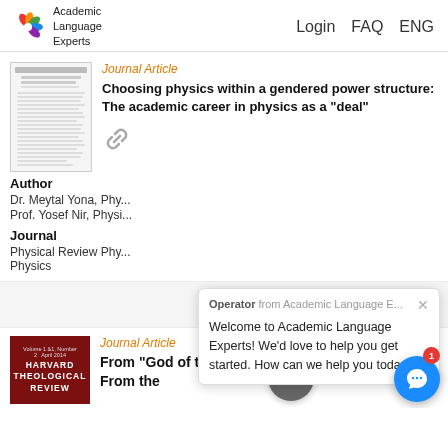Academic Language Experts   Login   FAQ   ENG
Journal Article
Choosing physics within a gendered power structure: The academic career in physics as a "deal"
Author
Dr. Meytal Yona, Phy...
Prof. Yosef Nir, Physi...
Journal
Physical Review Phy...
Physics
Operator from Academic Language E...  Welcome to Academic Language Experts! We'd love to help you get started. How can we help you today?
Journal Article
From “God of the World” to “God of the Heavens”: From the